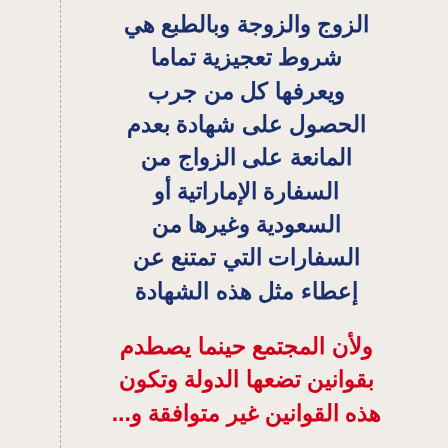الزوج والزوجة وبالطبع هي شروط تعجيزية تماما ويعرفها كل من جرب الحصول على شهادة بعدم المانعة على الزواج من السفارة الإماراتية أو السعودية وغيرها من السفارات التي تمتنع عن إعطاء مثل هذه الشهادة
ولأن المجتمع حينما يصطدم بقوانين تضعها الدولة وتكون هذه القوانين غير متوافقة و...